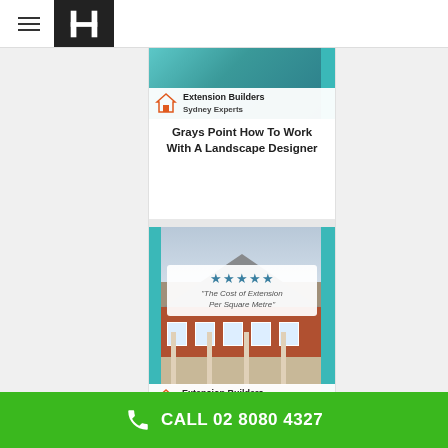Hometek - Extension Builders Sydney Experts
[Figure (screenshot): Extension Builders Sydney Experts logo badge with house icon and teal accent - top card image]
Grays Point How To Work With A Landscape Designer
[Figure (photo): Photo of a brick house extension with covered patio area, overlaid with a star rating card reading: ★★★★★ The Cost of Extension Per Square Metre, with Extension Builders Sydney Experts logo at bottom]
Do You Offer Garden Consultations? Sutherland Shire Region
CALL 02 8080 4327